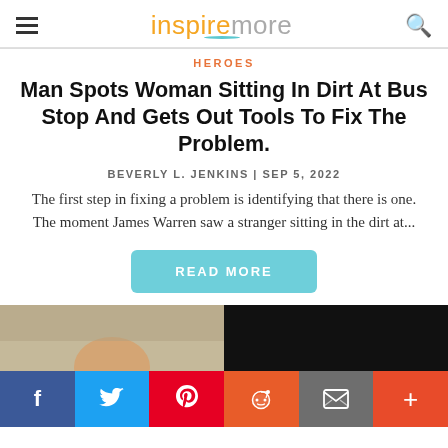inspiremore
HEROES
Man Spots Woman Sitting In Dirt At Bus Stop And Gets Out Tools To Fix The Problem.
BEVERLY L. JENKINS | SEP 5, 2022
The first step in fixing a problem is identifying that there is one. The moment James Warren saw a stranger sitting in the dirt at...
READ MORE
[Figure (photo): Partial photo of a man's face on left, black image on right]
f  Twitter  P  Reddit  Email  +